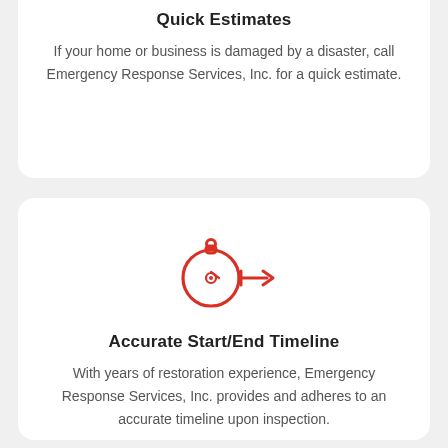Quick Estimates
If your home or business is damaged by a disaster, call Emergency Response Services, Inc. for a quick estimate.
[Figure (illustration): Red icon of a stopwatch/timer with a horizontal double-headed arrow indicating time measurement]
Accurate Start/End Timeline
With years of restoration experience, Emergency Response Services, Inc. provides and adheres to an accurate timeline upon inspection.